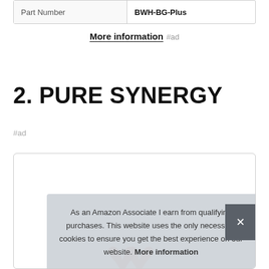| Part Number | BWH-BG-Plus |
| --- | --- |
More information #ad
2. PURE SYNERGY
#ad
As an Amazon Associate I earn from qualifying purchases. This website uses the only necessary cookies to ensure you get the best experience on our website. More information